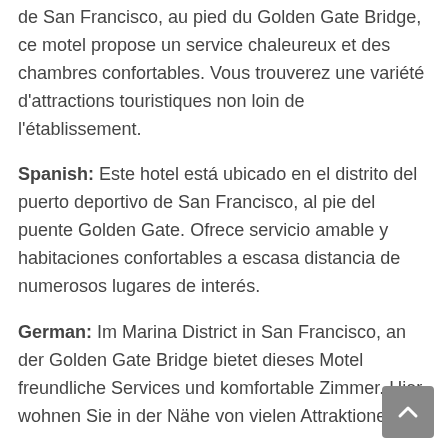de San Francisco, au pied du Golden Gate Bridge, ce motel propose un service chaleureux et des chambres confortables. Vous trouverez une variété d'attractions touristiques non loin de l'établissement.
Spanish: Este hotel está ubicado en el distrito del puerto deportivo de San Francisco, al pie del puente Golden Gate. Ofrece servicio amable y habitaciones confortables a escasa distancia de numerosos lugares de interés.
German: Im Marina District in San Francisco, an der Golden Gate Bridge bietet dieses Motel freundliche Services und komfortable Zimmer. Hier wohnen Sie in der Nähe von vielen Attraktionen.
Dutch: Het Presidio Inn & Suites ligt in de havenwijk van San Francisco, aan de voet van de Golden Gate Bridge. Dit motel biedt een attente service en heeft comfortabele kamers in de buurt van diverse bezienswaardigheden.